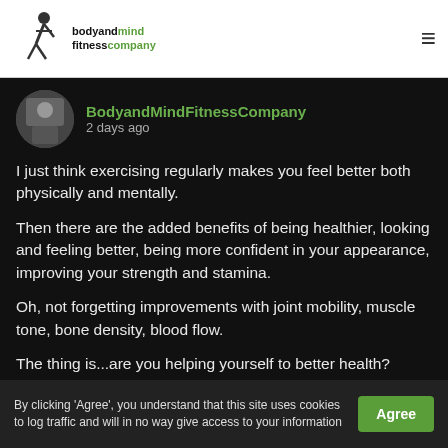bodyandmind fitness company
BodyandMindFitnessCompany
2 days ago
I just think exercising regularly makes you feel better both physically and mentally.
Then there are the added benefits of being healthier, looking and feeling better, being more confident in your appearance, improving your strength and stamina.
Oh, not forgetting improvements with joint mobility, muscle tone, bone density, blood flow.
The thing is...are you helping yourself to better health?
Photo
By clicking 'Agree', you understand that this site uses cookies to log traffic and will in no way give access to your information  Agree